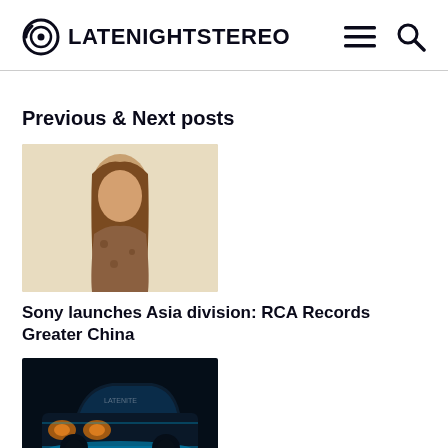LATENIGHTSTEREO
Previous & Next posts
[Figure (photo): Asian woman with long brown hair wearing a leopard print top, posing against a light background]
Sony launches Asia division: RCA Records Greater China
[Figure (photo): Dark nighttime photo of a classic car (BMW) illuminated with blue/teal lighting]